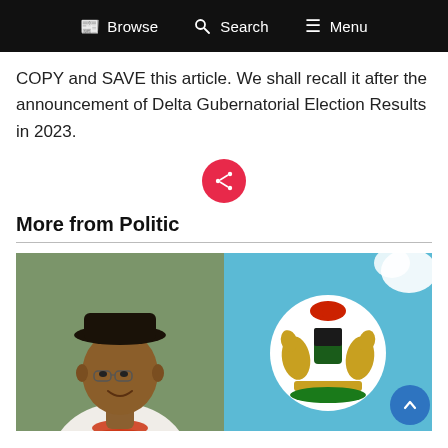Browse  Search  Menu
COPY and SAVE this article. We shall recall it after the announcement of Delta Gubernatorial Election Results in 2023.
[Figure (other): Red circular share button with share icon]
More from Politic
[Figure (photo): Two thumbnail images side by side: left shows a man wearing a dark hat and traditional beaded necklace against a green background; right shows Nigeria's coat of arms on a light blue background.]